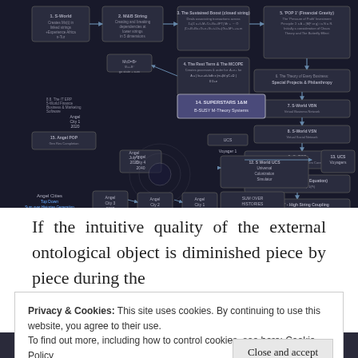[Figure (flowchart): A complex dark-background flowchart/diagram showing interconnected nodes labeled with concepts such as 'S-World', 'M&B String', 'The Sustained Boost', 'POP 1 Financial Gravity', 'The Theory of Every Business', 'S-World VBN', 'S-World VSN', 'QuESC', 'RES', 'POP 2 High String Coupling', 'S-World UCS', 'UCS Voyagers', 'Angel Cities', 'Angel City', 'SUM OVER HISTORIES GAME', 'SUPERSTARS 1&M B-SUSY M-Theory Systems', 'Gen Res Completion', 'UCS Voyager 1', connected by arrows in multiple directions, on a dark navy/black background.]
If the intuitive quality of the external ontological object is diminished piece by piece during the
Privacy & Cookies: This site uses cookies. By continuing to use this website, you agree to their use.
To find out more, including how to control cookies, see here: Cookie Policy
Close and accept
Follow